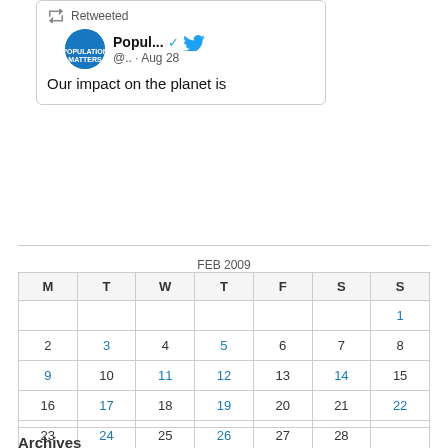[Figure (screenshot): Tweet card showing a retweet from Population Matters (@..) on Aug 28 with text 'Our impact on the planet is']
| M | T | W | T | F | S | S |
| --- | --- | --- | --- | --- | --- | --- |
|  |  |  |  |  |  | 1 |
| 2 | 3 | 4 | 5 | 6 | 7 | 8 |
| 9 | 10 | 11 | 12 | 13 | 14 | 15 |
| 16 | 17 | 18 | 19 | 20 | 21 | 22 |
| 23 | 24 | 25 | 26 | 27 | 28 |  |
« Jan   Mar »
Archives